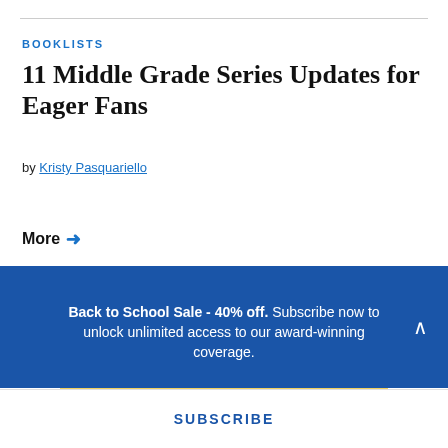BOOKLISTS
11 Middle Grade Series Updates for Eager Fans
by Kristy Pasquariello
More →
[Figure (logo): A fuse 8 logo on a yellow background with blue typography and connected dot graphics]
Back to School Sale - 40% off. Subscribe now to unlock unlimited access to our award-winning coverage.
SUBSCRIBE